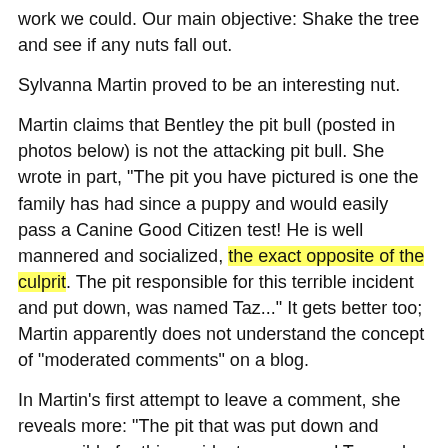work we could. Our main objective: Shake the tree and see if any nuts fall out.
Sylvanna Martin proved to be an interesting nut.
Martin claims that Bentley the pit bull (posted in photos below) is not the attacking pit bull. She wrote in part, "The pit you have pictured is one the family has had since a puppy and would easily pass a Canine Good Citizen test! He is well mannered and socialized, the exact opposite of the culprit. The pit responsible for this terrible incident and put down, was named Taz..." It gets better too; Martin apparently does not understand the concept of "moderated comments" on a blog.
In Martin's first attempt to leave a comment, she reveals more: "The pit that was put down and responsible for this accident was named Taz and was a black and white pit bull!!! She didn't even have him long enough to get pictures of him!" If this